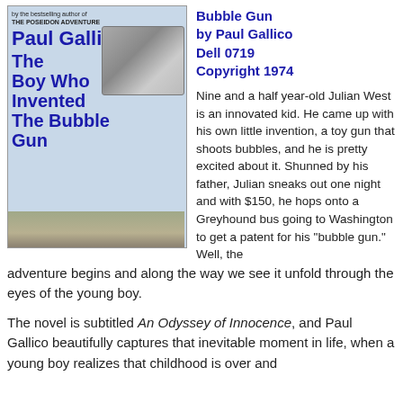[Figure (illustration): Book cover of 'The Boy Who Invented The Bubble Gun' by Paul Gallico, showing a man with a gun reflected in a car mirror, with desert landscape background. Text on cover includes author name Paul Gallico, book title, and quote 'Enormously readable! —Chicago Tribune']
Bubble Gun
by Paul Gallico
Dell 0719
Copyright 1974
Nine and a half year-old Julian West is an innovated kid. He came up with his own little invention, a toy gun that shoots bubbles, and he is pretty excited about it. Shunned by his father, Julian sneaks out one night and with $150, he hops onto a Greyhound bus going to Washington to get a patent for his "bubble gun." Well, the adventure begins and along the way we see it unfold through the eyes of the young boy.
The novel is subtitled An Odyssey of Innocence, and Paul Gallico beautifully captures that inevitable moment in life, when a young boy realizes that childhood is over and